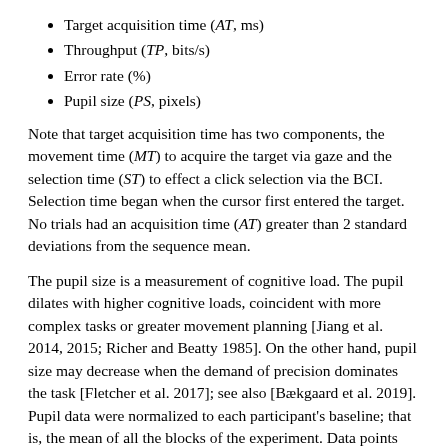Target acquisition time (AT, ms)
Throughput (TP, bits/s)
Error rate (%)
Pupil size (PS, pixels)
Note that target acquisition time has two components, the movement time (MT) to acquire the target via gaze and the selection time (ST) to effect a click selection via the BCI. Selection time began when the cursor first entered the target. No trials had an acquisition time (AT) greater than 2 standard deviations from the sequence mean.
The pupil size is a measurement of cognitive load. The pupil dilates with higher cognitive loads, coincident with more complex tasks or greater movement planning [Jiang et al. 2014, 2015; Richer and Beatty 1985]. On the other hand, pupil size may decrease when the demand of precision dominates the task [Fletcher et al. 2017]; see also [Bækgaard et al. 2019]. Pupil data were normalized to each participant's baseline; that is, the mean of all the blocks of the experiment. Data points with either eye's pupil size of 0 pixels were omitted from calculation of this baseline. Furthermore, data outside 1 standard